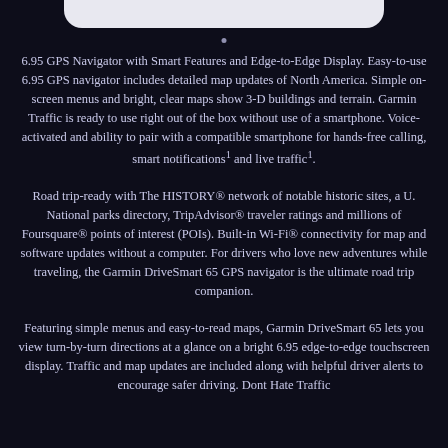6.95 GPS Navigator with Smart Features and Edge-to-Edge Display. Easy-to-use 6.95 GPS navigator includes detailed map updates of North America. Simple on-screen menus and bright, clear maps show 3-D buildings and terrain. Garmin Traffic is ready to use right out of the box without use of a smartphone. Voice-activated and ability to pair with a compatible smartphone for hands-free calling, smart notifications¹ and live traffic¹.
Road trip-ready with The HISTORY® network of notable historic sites, a U. National parks directory, TripAdvisor® traveler ratings and millions of Foursquare® points of interest (POIs). Built-in Wi-Fi® connectivity for map and software updates without a computer. For drivers who love new adventures while traveling, the Garmin DriveSmart 65 GPS navigator is the ultimate road trip companion.
Featuring simple menus and easy-to-read maps, Garmin DriveSmart 65 lets you view turn-by-turn directions at a glance on a bright 6.95 edge-to-edge touchscreen display. Traffic and map updates are included along with helpful driver alerts to encourage safer driving. Dont Hate Traffic